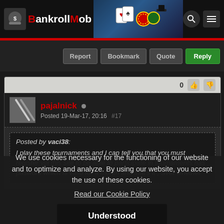The BankrollMob
Report | Bookmark | Quote | Reply
pajalnick • Posted 19-Mar-17, 20:16 #17
Posted by vaci38: I play these tournaments and I can tell you that you must register via this site to be able to participate in tournaments has pasword which is valid for a month and that's it , Sver whether
We use cookies necessary for the functioning of our website and to optimize and analyze. By using our website, you accept the use of these cookies.
Read our Cookie Policy
Understood